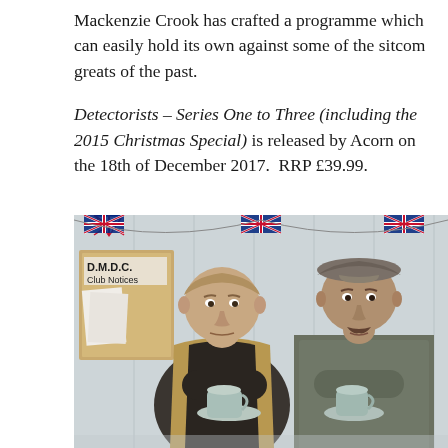Mackenzie Crook has crafted a programme which can easily hold its own against some of the sitcom greats of the past.
Detectorists – Series One to Three (including the 2015 Christmas Special) is released by Acorn on the 18th of December 2017.  RRP £39.99.
[Figure (photo): Two men standing indoors against a white-panelled wall decorated with Union Jack bunting. On the left, a stocky man in a gilet and dark shirt holds a pale blue teacup and saucer with a serious expression. On the right, a taller lean man wearing a grey flat cap and olive shirt also holds a pale blue teacup and saucer. Behind them on the left is a noticeboard reading 'D.M.D.C. Club Notices'.]